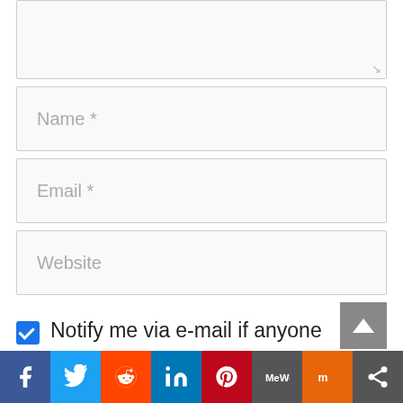[Figure (screenshot): Textarea input field (partially visible, top of page), with a resize handle indicator at bottom-right]
[Figure (screenshot): Name * text input field placeholder]
[Figure (screenshot): Email * text input field placeholder]
[Figure (screenshot): Website text input field placeholder]
Notify me via e-mail if anyone answers my comment.
I consent to Trish's treasure trove of tantalizing topics collecting and storing the
[Figure (screenshot): Social sharing bar with icons: Facebook, Twitter, Reddit, LinkedIn, Pinterest, MeWe, Mix, Share]